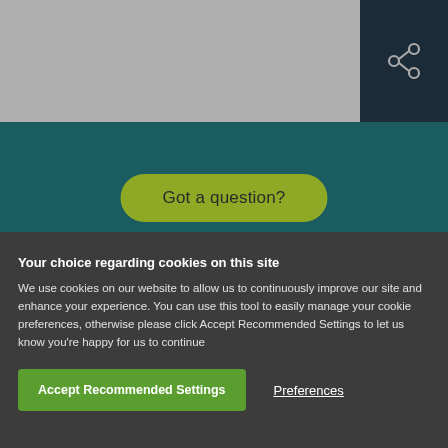[Figure (screenshot): Gray top banner area of a website]
[Figure (illustration): Dark navy share button with share icon in top right corner]
[Figure (screenshot): Teal/dark teal website section with 'Got a question?' yellow-green pill button and 'About us' outlined pill button]
Your choice regarding cookies on this site
We use cookies on our website to allow us to continuously improve our site and enhance your experience. You can use this tool to easily manage your cookie preferences, otherwise please click Accept Recommended Settings to let us know you're happy for us to continue
Accept Recommended Settings
Preferences